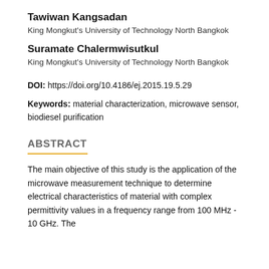Tawiwan Kangsadan
King Mongkut's University of Technology North Bangkok
Suramate Chalermwisutkul
King Mongkut's University of Technology North Bangkok
DOI: https://doi.org/10.4186/ej.2015.19.5.29
Keywords: material characterization, microwave sensor, biodiesel purification
ABSTRACT
The main objective of this study is the application of the microwave measurement technique to determine electrical characteristics of material with complex permittivity values in a frequency range from 100 MHz - 10 GHz. The